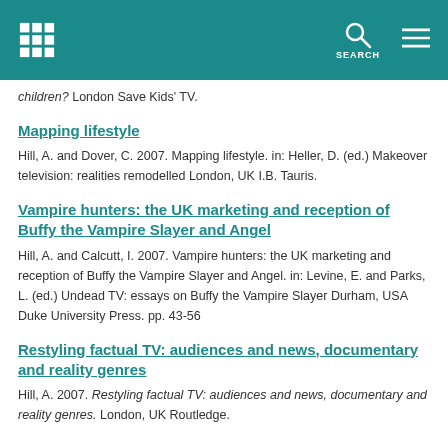SEARCH
children? London Save Kids' TV.
Mapping lifestyle
Hill, A. and Dover, C. 2007. Mapping lifestyle. in: Heller, D. (ed.) Makeover television: realities remodelled London, UK I.B. Tauris.
Vampire hunters: the UK marketing and reception of Buffy the Vampire Slayer and Angel
Hill, A. and Calcutt, I. 2007. Vampire hunters: the UK marketing and reception of Buffy the Vampire Slayer and Angel. in: Levine, E. and Parks, L. (ed.) Undead TV: essays on Buffy the Vampire Slayer Durham, USA Duke University Press. pp. 43-56
Restyling factual TV: audiences and news, documentary and reality genres
Hill, A. 2007. Restyling factual TV: audiences and news, documentary and reality genres. London, UK Routledge.